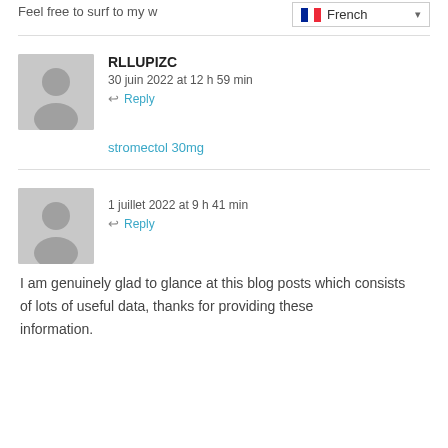Feel free to surf to my w...
French
RLLUPIZC
30 juin 2022 at 12 h 59 min
Reply
stromectol 30mg
1 juillet 2022 at 9 h 41 min
Reply
I am genuinely glad to glance at this blog posts which consists of lots of useful data, thanks for providing these information.